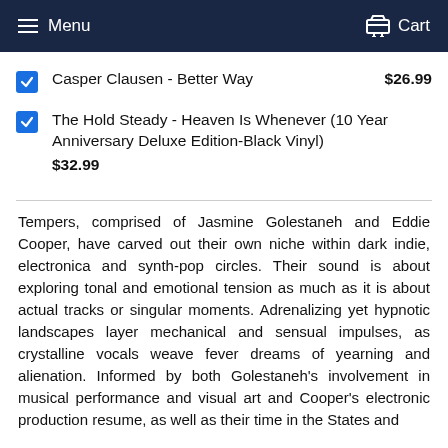Menu   Cart
Casper Clausen - Better Way   $26.99
The Hold Steady - Heaven Is Whenever (10 Year Anniversary Deluxe Edition-Black Vinyl)   $32.99
Tempers, comprised of Jasmine Golestaneh and Eddie Cooper, have carved out their own niche within dark indie, electronica and synth-pop circles. Their sound is about exploring tonal and emotional tension as much as it is about actual tracks or singular moments. Adrenalizing yet hypnotic landscapes layer mechanical and sensual impulses, as crystalline vocals weave fever dreams of yearning and alienation. Informed by both Golestaneh's involvement in musical performance and visual art and Cooper's electronic production resume, as well as their time in the States and